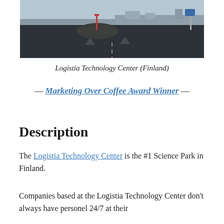[Figure (photo): Outdoor photo of a road intersection or roundabout in Finland, showing asphalt road, a small traffic island, buildings in the background, and a light sky.]
Logistia Technology Center (Finland)
— Marketing Over Coffee Award Winner —
Description
The Logistia Technology Center is the #1 Science Park in Finland.
Companies based at the Logistia Technology Center don't always have personel 24/7 at their